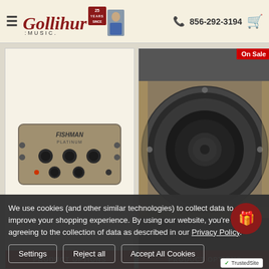Gollihur Music — 856-292-3194
[Figure (photo): Fishman Platinum preamp/EQ pedal with multiple knobs on a beige background]
[Figure (photo): Upright bass speaker cone viewed from front, inside cardboard box, on sale]
PRODUCT OPTIONS
PRODUCT OPTIONS
We use cookies (and other similar technologies) to collect data to improve your shopping experience. By using our website, you're agreeing to the collection of data as described in our Privacy Policy.
Settings
Reject all
Accept All Cookies
TrustedSite